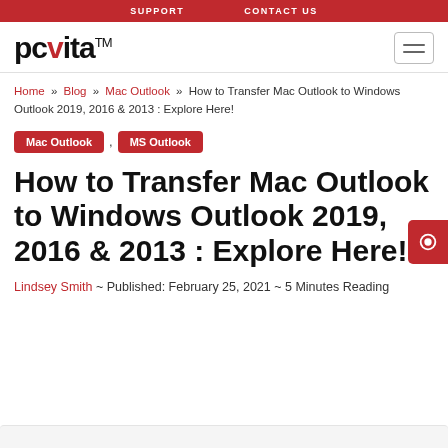SUPPORT   CONTACT US
pcvita™
Home » Blog » Mac Outlook » How to Transfer Mac Outlook to Windows Outlook 2019, 2016 & 2013 : Explore Here!
Mac Outlook , MS Outlook
How to Transfer Mac Outlook to Windows Outlook 2019, 2016 & 2013 : Explore Here!
Lindsey Smith ~ Published: February 25, 2021 ~ 5 Minutes Reading